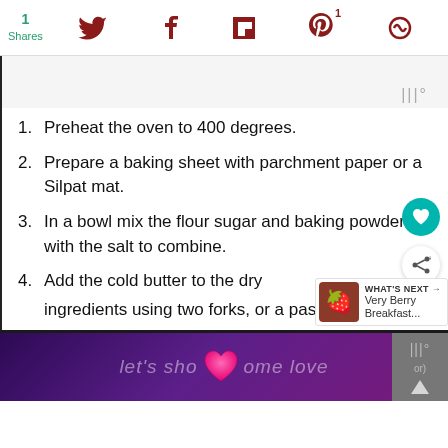1 Shares — social share icons: Twitter, Facebook, Flipboard, Pinterest (1), RebelMouse
1. Preheat the oven to 400 degrees.
2. Prepare a baking sheet with parchment paper or a Silpat mat.
3. In a bowl mix the flour sugar and baking powder with the salt to combine.
4. Add the cold butter to the dry ingredients using two forks, or a past
let's show some love